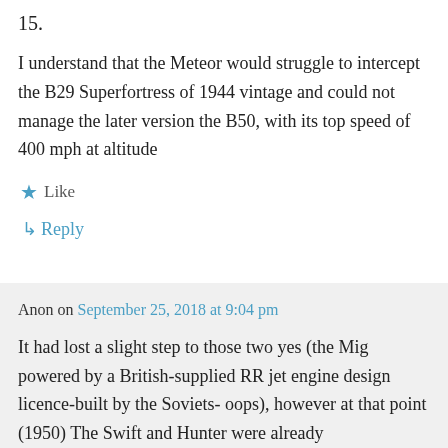15.
I understand that the Meteor would struggle to intercept the B29 Superfortress of 1944 vintage and could not manage the later version the B50, with its top speed of 400 mph at altitude
★ Like
↳ Reply
Anon on September 25, 2018 at 9:04 pm
It had lost a slight step to those two yes (the Mig powered by a British-supplied RR jet engine design licence-built by the Soviets- oops), however at that point (1950) The Swift and Hunter were already